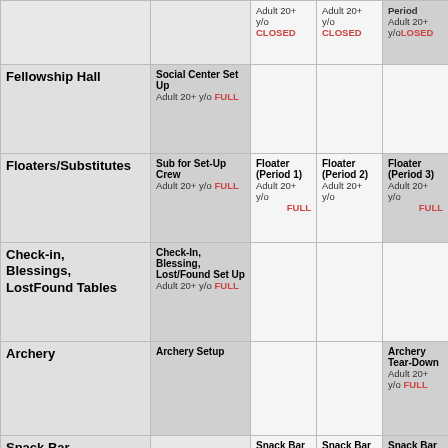| Area | Setup/Pre | Period 1 | Period 2 | Period 3 |
| --- | --- | --- | --- | --- |
|  |  | Adult 20+ y/o CLOSED | Adult 20+ y/o CLOSED | Period Adult 20+ y/o CLOSED |
| Fellowship Hall | Social Center Set Up Adult 20+ y/o FULL |  |  |  |
| Floaters/Substitutes | Sub for Set-Up Crew Adult 20+ y/o FULL | Floater (Period 1) Adult 20+ y/o FULL | Floater (Period 2) Adult 20+ y/o | Floater (Period 3) Adult 20+ y/o FULL |
| Check-in, Blessings, LostFound Tables | Check-In, Blessing, Lost/Found Set Up Adult 20+ y/o FULL |  |  |  |
| Archery | Archery Setup |  |  | Archery Tear-Down Adult 20+ y/o FULL |
| Snack Bar |  | Snack Bar Helper Adult 20+ y/o FULL | Snack Bar Helper Adult 20+ y/o FULL | Snack Bar Helper Adult 20+ y/o FULL |
| Security~ Perimeter 1st half of the hour |  | Security 1st Half of First Period 9-9:30 - Adult 20+ y/o FULL | Security 1st Half of Second Period 10:00-10:30 Adult 20+ y/o FULL | Security 1st Half of Third Period 11-11:30 Adult 20+ y/o FULL |